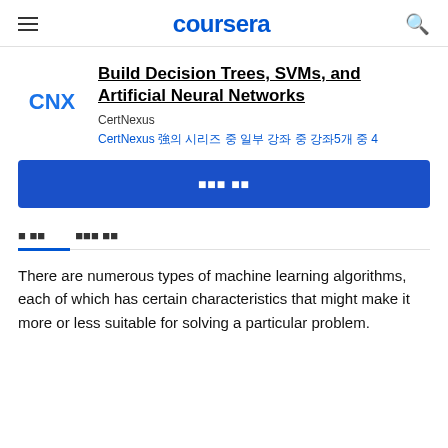coursera
Build Decision Trees, SVMs, and Artificial Neural Networks
CertNexus
CertNexus 강의 시리즈 중 일부 강좌 5개 중 4
무료 체험
개 요   강의 계획서
There are numerous types of machine learning algorithms, each of which has certain characteristics that might make it more or less suitable for solving a particular problem.